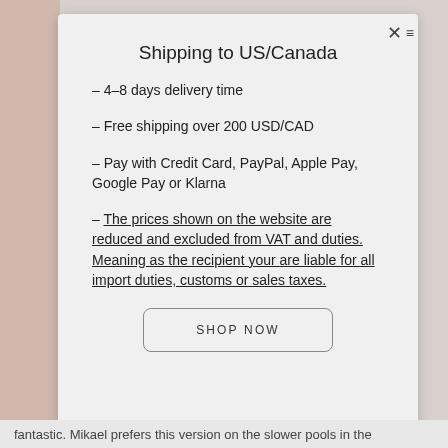Shipping to US/Canada
– 4–8 days delivery time
– Free shipping over 200 USD/CAD
– Pay with Credit Card, PayPal, Apple Pay, Google Pay or Klarna
– The prices shown on the website are reduced and excluded from VAT and duties. Meaning as the recipient your are liable for all import duties, customs or sales taxes.
SHOP NOW
fantastic. Mikael prefers this version on the slower pools in the